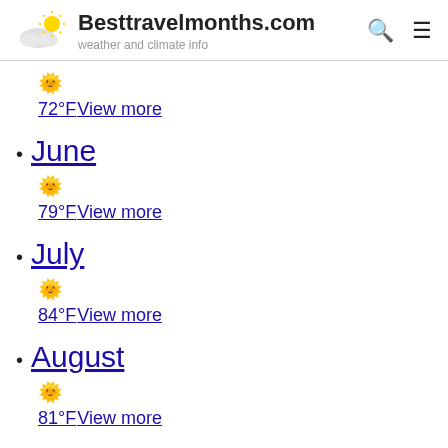Besttravelmonths.com weather and climate info
72°F View more
June 79°F View more
July 84°F View more
August 81°F View more